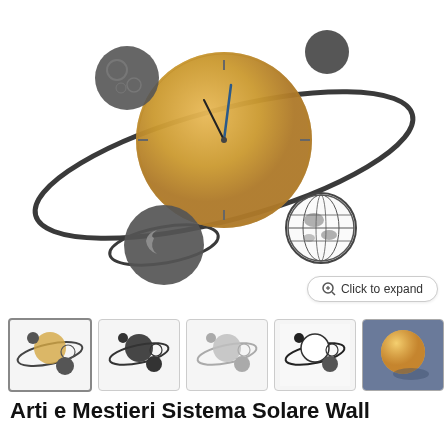[Figure (photo): Solar system wall clock product image: a large golden/tan circular clock face with clock hands, surrounded by dark gray orbital rings. Multiple planet decorations attached - a moon-like gray planet (upper left), a dark planet with Saturn-like rings (lower center), a globe/Earth (right), and a small dark sphere (upper right). The decorative wall clock is shown on a white background.]
Click to expand
[Figure (photo): Thumbnail 1 (active/selected): small version of main solar system clock image with colored version]
[Figure (photo): Thumbnail 2: same solar system clock in dark/black colorway]
[Figure (photo): Thumbnail 3: same solar system clock in light gray/silver colorway]
[Figure (photo): Thumbnail 4: same solar system clock in white/black high contrast]
[Figure (photo): Thumbnail 5: close-up photo of the solar system clock showing the glowing golden sun/clock face detail with blue background shadow]
Arti e Mestieri Sistema Solare Wall